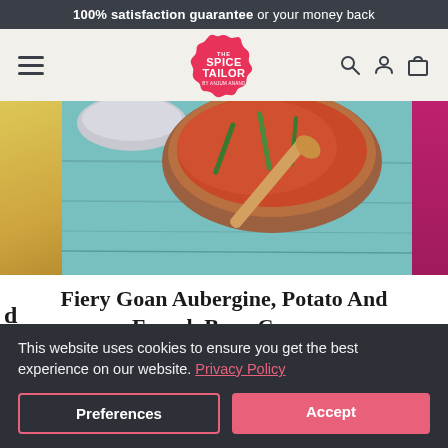100% satisfaction guarantee or your money back
[Figure (logo): The Spice Tailor logo — pink flower-shaped badge with white text reading THE SPICE TAILOR BY ANJUM ANAND]
[Figure (photo): Overhead photo of a curry dish in a wooden bowl with a wooden spoon, on a light blue painted wooden surface. Food images on left and right edges.]
Fiery Goan Aubergine, Potato And French Bean Curry
This website uses cookies to ensure you get the best experience on our website. Privacy Policy
Preferences
Accept